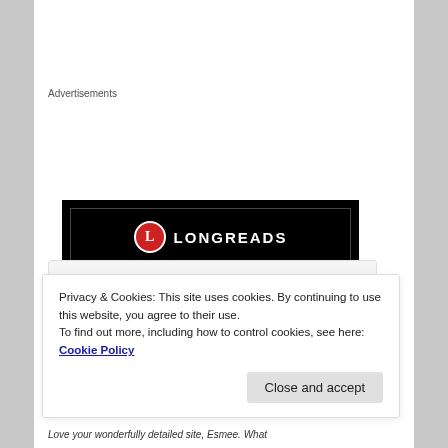Advertisements
[Figure (logo): Longreads advertisement banner with black background, red circle L logo, text LONGREADS, and tagline 'Read anything great lately?']
[Figure (screenshot): Partial comment box with star icon and grey avatar placeholder]
Privacy & Cookies: This site uses cookies. By continuing to use this website, you agree to their use.
To find out more, including how to control cookies, see here: Cookie Policy
Close and accept
Love your wonderfully detailed site, Esmee. What